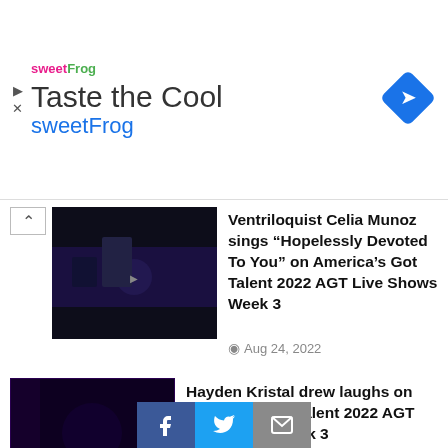[Figure (other): sweetFrog advertisement banner with logo, 'Taste the Cool' headline, sweetFrog text, and navigation arrow diamond icon]
Ventriloquist Celia Munoz sings “Hopelessly Devoted To You” on America’s Got Talent 2022 AGT Live Shows Week 3
Aug 24, 2022
Hayden Kristal drew laughs on America’s Got Talent 2022 AGT Live Shows Week 3
RECENT PO
America’s Go
Elimination A
This website uses cookies to ensure you get the best experience on our website. Learn more
Got it!